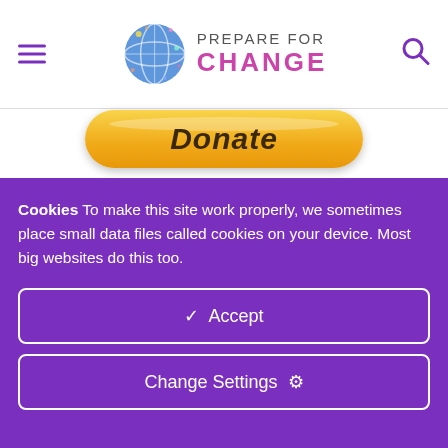Prepare For Change
[Figure (screenshot): Donate button with payment method icons (MasterCard, VISA, American Express, Bank, Discover)]
Your Tax Free Donations Are Appreciated and Help Fund our Volunteer Website and Orphanage
Cookies To make this site work properly, we sometimes place small data files called cookies on your device. Most big websites do this too.
Accept
Change Settings